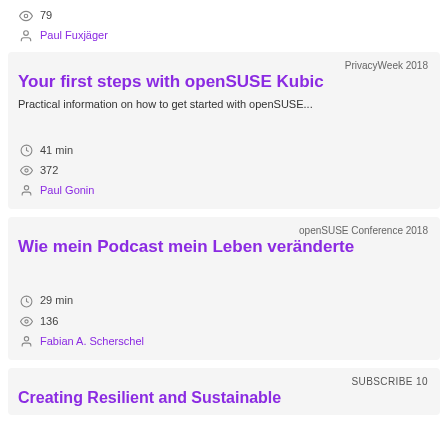79
Paul Fuxjäger
PrivacyWeek 2018
Your first steps with openSUSE Kubic
Practical information on how to get started with openSUSE...
41 min
372
Paul Gonin
openSUSE Conference 2018
Wie mein Podcast mein Leben veränderte
29 min
136
Fabian A. Scherschel
SUBSCRIBE 10
Creating Resilient and Sustainable